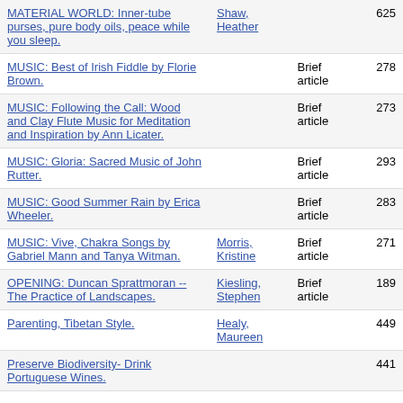| Title | Author | Type | Page |
| --- | --- | --- | --- |
| MATERIAL WORLD: Inner-tube purses, pure body oils, peace while you sleep. | Shaw, Heather |  | 625 |
| MUSIC: Best of Irish Fiddle by Florie Brown. |  | Brief article | 278 |
| MUSIC: Following the Call: Wood and Clay Flute Music for Meditation and Inspiration by Ann Licater. |  | Brief article | 273 |
| MUSIC: Gloria: Sacred Music of John Rutter. |  | Brief article | 293 |
| MUSIC: Good Summer Rain by Erica Wheeler. |  | Brief article | 283 |
| MUSIC: Vive, Chakra Songs by Gabriel Mann and Tanya Witman. | Morris, Kristine | Brief article | 271 |
| OPENING: Duncan Sprattmoran -- The Practice of Landscapes. | Kiesling, Stephen | Brief article | 189 |
| Parenting, Tibetan Style. | Healy, Maureen |  | 449 |
| Preserve Biodiversity- Drink Portuguese Wines. |  |  | 441 |